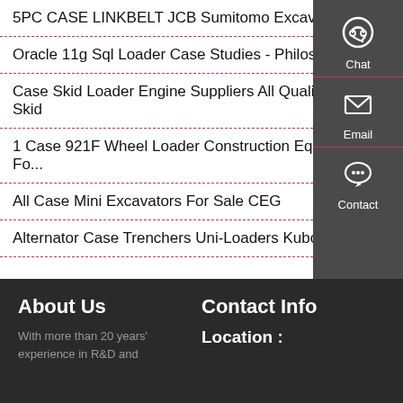5PC CASE LINKBELT JCB Sumitomo Excavator Heavy
Oracle 11g Sql Loader Case Studies - Philosophical-
Case Skid Loader Engine Suppliers All Quality Case Skid
1 Case 921F Wheel Loader Construction Equipment Fo...
All Case Mini Excavators For Sale CEG
Alternator Case Trenchers Uni-Loaders Kubota
[Figure (infographic): Sidebar with three sections: Chat (headset icon), Email (envelope icon), Contact (speech bubble icon), each separated by red lines on dark gray background]
About Us
Contact Info
With more than 20 years' experience in R&D and
Location :